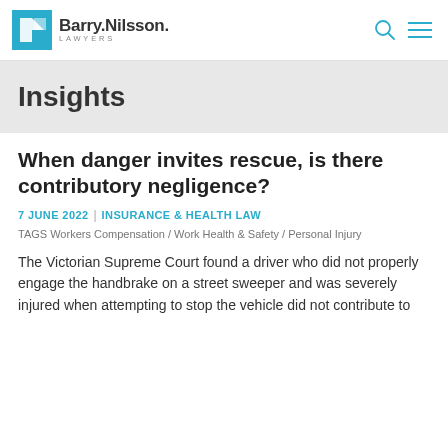[Figure (logo): Barry.Nilsson. Lawyers logo with teal geometric square icon and firm name]
Insights
When danger invites rescue, is there contributory negligence?
7 JUNE 2022 | INSURANCE & HEALTH LAW
TAGS Workers Compensation / Work Health & Safety / Personal Injury
The Victorian Supreme Court found a driver who did not properly engage the handbrake on a street sweeper and was severely injured when attempting to stop the vehicle did not contribute to